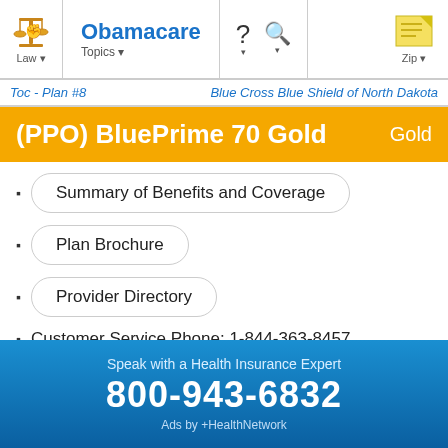Law  Obamacare Topics  ? ▾  🔍 ▾  Zip ▾
Toc - Plan #8    Blue Cross Blue Shield of North Dakota
(PPO) BluePrime 70 Gold    Gold
Summary of Benefits and Coverage
Plan Brochure
Provider Directory
Customer Service Phone: 1-844-363-8457
Annual Out of Pocket Expenses
Speak with a Health Insurance Expert
800-943-6832
Ads by +HealthNetwork